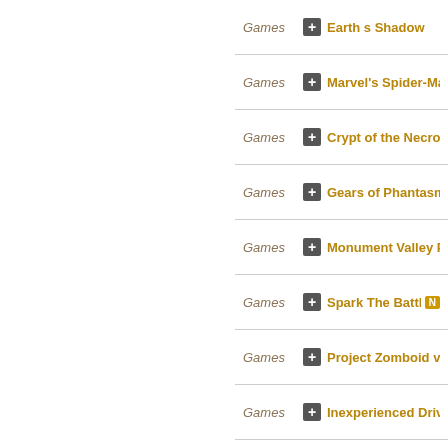Games — Earth s Shadow
Games — Marvel's Spider-Man Re…
Games — Crypt of the NecroDanc…
Games — Gears of Phantasm Des…
Games — Monument Valley Panor…
Games — Spark The Battle Dog [NEW]
Games — Project Zomboid v41 73…
Games — Inexperienced Driver
Games — Fishing Paradiso Build 9…
Games — Cartel Tycoon v1 0 40…